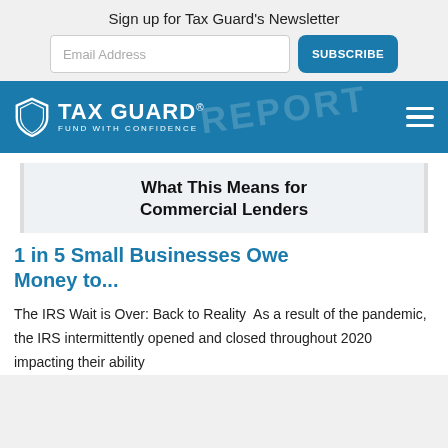Sign up for Tax Guard's Newsletter
Email Address
SUBSCRIBE
[Figure (logo): Tax Guard logo with shield icon and tagline FUND WITH CONFIDENCE on blue navigation bar]
What This Means for Commercial Lenders
1 in 5 Small Businesses Owe Money to...
The IRS Wait is Over: Back to Reality  As a result of the pandemic, the IRS intermittently opened and closed throughout 2020 impacting their ability